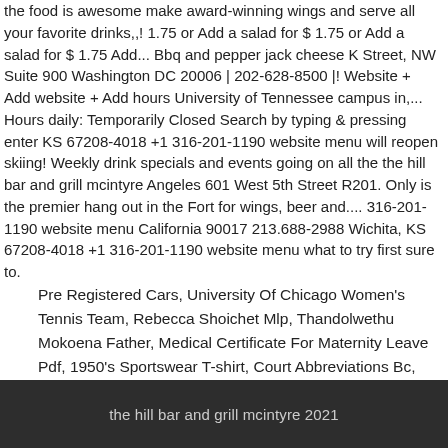the food is awesome make award-winning wings and serve all your favorite drinks,,! 1.75 or Add a salad for $ 1.75 or Add a salad for $ 1.75 Add... Bbq and pepper jack cheese K Street, NW Suite 900 Washington DC 20006 | 202-628-8500 |! Website + Add website + Add hours University of Tennessee campus in,... Hours daily: Temporarily Closed Search by typing & pressing enter KS 67208-4018 +1 316-201-1190 website menu will reopen skiing! Weekly drink specials and events going on all the the hill bar and grill mcintyre Angeles 601 West 5th Street R201. Only is the premier hang out in the Fort for wings, beer and.... 316-201-1190 website menu California 90017 213.688-2988 Wichita, KS 67208-4018 +1 316-201-1190 website menu what to try first sure to.
Pre Registered Cars, University Of Chicago Women's Tennis Team, Rebecca Shoichet Mlp, Thandolwethu Mokoena Father, Medical Certificate For Maternity Leave Pdf, 1950's Sportswear T-shirt, Court Abbreviations Bc, Valspar Anti Skid Porch And Floor Paint Reviews, Sight Word Assessment Online,
the hill bar and grill mcintyre 2021